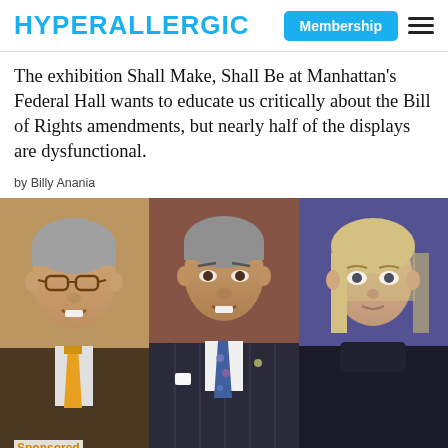HYPERALLERGIC | Membership
The exhibition Shall Make, Shall Be at Manhattan's Federal Hall wants to educate us critically about the Bill of Rights amendments, but nearly half of the displays are dysfunctional.
by Billy Anania
[Figure (photo): Three portrait photos side by side: an older man with glasses and gold tie on the left, a middle-aged man in a dark pinstripe suit with patterned tie in the center, and a blonde woman in a dark top on the right.]
Sponsored